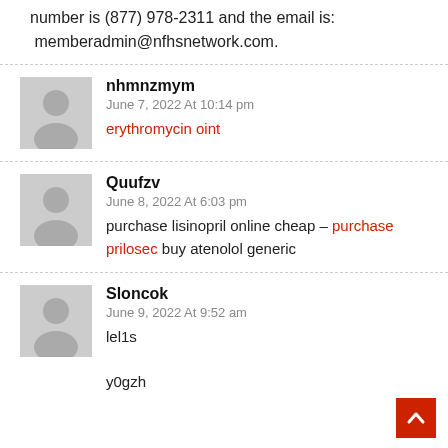number is (877) 978-2311 and the email is: memberadmin@nfhsnetwork.com.
nhmnzmym
June 7, 2022 At 10:14 pm
erythromycin oint
Quufzv
June 8, 2022 At 6:03 pm
purchase lisinopril online cheap – purchase prilosec buy atenolol generic
Sloncok
June 9, 2022 At 9:52 am
lel1s

y0gzh